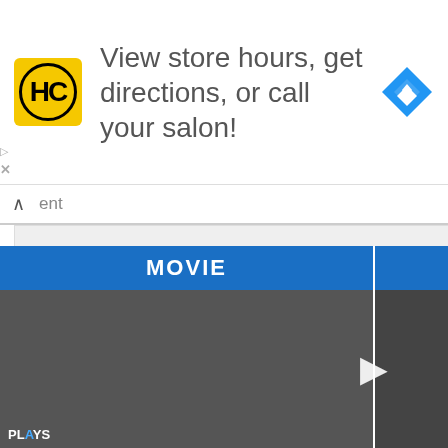[Figure (screenshot): Top advertisement banner with HC logo, text 'View store hours, get directions, or call your salon!' and a blue navigation diamond icon]
ent
[Figure (screenshot): Gray text input area / comment box]
POST COMMENT
BE THE FIRST TO COMMENT
[Figure (screenshot): Advertisement overlay panel with 'Best Selling — Our Most Popular Products — Updated Weekly!' on orange background with shopping cart and items icons, AliExpress branding and Shop Now button]
[Figure (screenshot): Bottom video strip with MOVIE and GAME tabs in blue, showing two video thumbnails side by side with play button in center, PLAYS label on left and COO label on right]